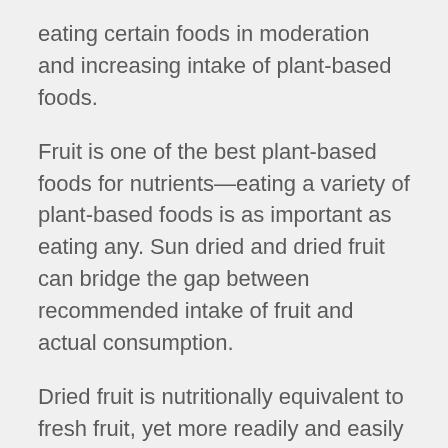eating certain foods in moderation and increasing intake of plant-based foods.
Fruit is one of the best plant-based foods for nutrients—eating a variety of plant-based foods is as important as eating any. Sun dried and dried fruit can bridge the gap between recommended intake of fruit and actual consumption.
Dried fruit is nutritionally equivalent to fresh fruit, yet more readily and easily consumed. Traina  Foods' fruitons offers a way to add a multitude of